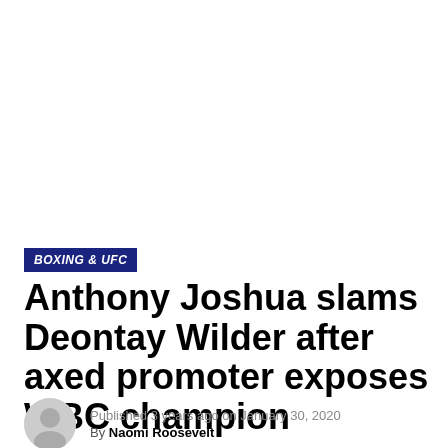BOXING & UFC
Anthony Joshua slams Deontay Wilder after axed promoter exposes WBC champion
Published 3 years ago on January 30, 2020
By Naomi Roosevelt